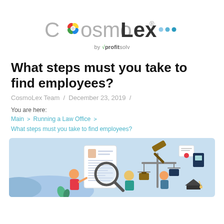[Figure (logo): CosmoLex logo by profitsolv with colorful flower icon and three blue dots]
What steps must you take to find employees?
CosmoLex Team / December 23, 2019 /
You are here:
Main > Running a Law Office >
What steps must you take to find employees?
[Figure (illustration): Hero banner illustration showing law office hiring theme: a person reviewing a resume with magnifying glass on the left, and scales of justice with a gavel and diploma on the right, on a light blue background]